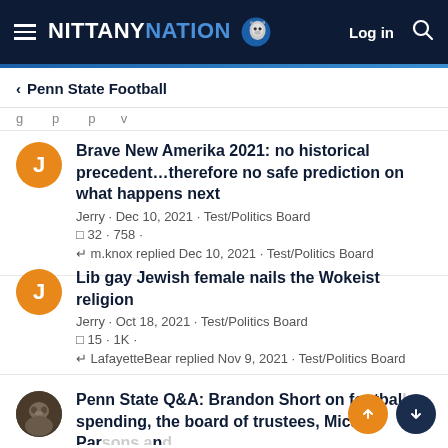NITTANY NATION — Log in
< Penn State Football
Brave New Amerika 2021: no historical precedent...therefore no safe prediction on what happens next
Jerry · Dec 10, 2021 · Test/Politics Board
32 · 758 · m.knox replied Dec 10, 2021 · Test/Politics Board
Lib gay Jewish female nails the Wokeist religion
Jerry · Oct 18, 2021 · Test/Politics Board
15 · 1K · LafayetteBear replied Nov 9, 2021 · Test/Politics Board
Penn State Q&A: Brandon Short on football spending, the board of trustees, Micah Parsons and more